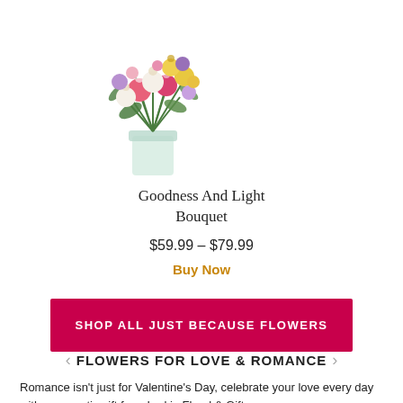[Figure (photo): Colorful flower bouquet in a glass vase with pink, yellow, white, and purple flowers with green foliage]
Goodness And Light Bouquet
$59.99 – $79.99
Buy Now
SHOP ALL JUST BECAUSE FLOWERS
FLOWERS FOR LOVE & ROMANCE
Romance isn't just for Valentine's Day, celebrate your love every day with a romantic gift from Larkin Floral & Gifts.